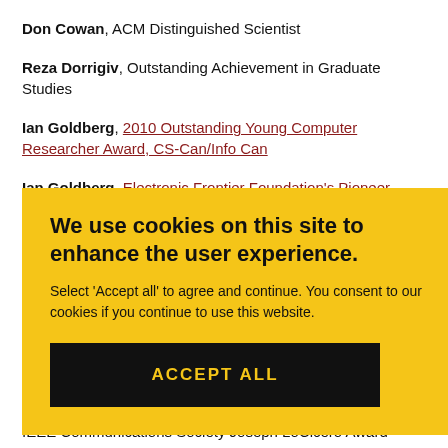Don Cowan, ACM Distinguished Scientist
Reza Dorrigiv, Outstanding Achievement in Graduate Studies
Ian Goldberg, 2010 Outstanding Young Computer Researcher Award, CS-Can/Info Can
Ian Goldberg, Electronic Frontier Foundation's Pioneer Award
[Figure (screenshot): Cookie consent banner with yellow background. Heading: 'We use cookies on this site to enhance the user experience.' Body: 'Select Accept all to agree and continue. You consent to our cookies if you continue to use this website.' Button: 'ACCEPT ALL' in yellow text on black background.]
IEEE Communications Society Joseph LoCicero Award